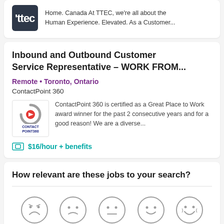[Figure (logo): TTEC logo — dark background with white ttec text]
Home. Canada At TTEC, we're all about the Human Experience. Elevated. As a Customer...
Inbound and Outbound Customer Service Representative – WORK FROM...
Remote • Toronto, Ontario
ContactPoint 360
[Figure (logo): ContactPoint 360 logo — circular arrow icon in red/gray with CONTACT POINT360 text below]
ContactPoint 360 is certified as a Great Place to Work award winner for the past 2 consecutive years and for a good reason! We are a diverse...
$16/hour + benefits
How relevant are these jobs to your search?
[Figure (illustration): Five emoji-style face icons ranging from very unhappy to very happy (rating scale)]